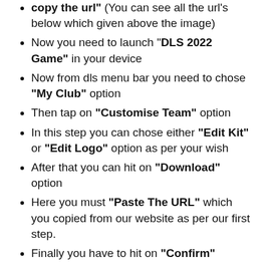copy the url" (You can see all the url's below which given above the image)
Now you need to launch "DLS 2022 Game" in your device
Now from dls menu bar you need to chose "My Club" option
Then tap on "Customise Team" option
In this step you can chose either "Edit Kit" or "Edit Logo" option as per your wish
After that you can hit on "Download" option
Here you must "Paste The URL" which you copied from our website as per our first step.
Finally you have to hit on "Confirm"